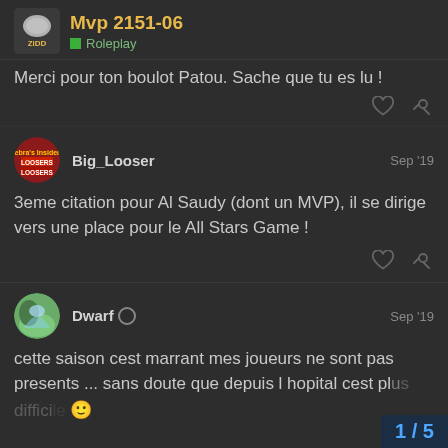Mvp 2151-06 | Roleplay
Merci pour ton boulot Patou. Sache que tu es lu !
Big_Looser  Sep '19
3eme citation pour Al Saudy (dont un MVP), il se dirige vers une place pour le All Stars Game !
Dwarf  Sep '19
cette saison cest marrant mes joueurs ne sont pas presents ... sans doute que depuis l hopital cest pl… diffic…
1 / 5